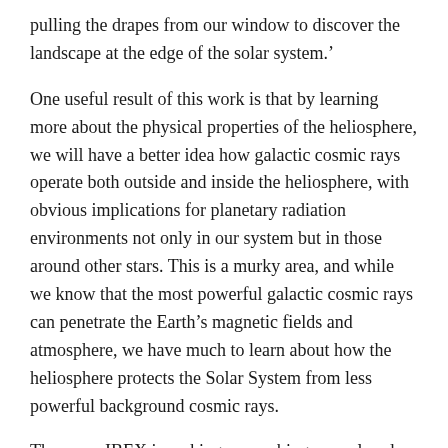pulling the drapes from our window to discover the landscape at the edge of the solar system.'
One useful result of this work is that by learning more about the physical properties of the heliosphere, we will have a better idea how galactic cosmic rays operate both outside and inside the heliosphere, with obvious implications for planetary radiation environments not only in our system but in those around other stars. This is a murky area, and while we know that the most powerful galactic cosmic rays can penetrate the Earth’s magnetic fields and atmosphere, we have much to learn about how the heliosphere protects the Solar System from less powerful background cosmic rays.
The maps IBEX is making are probing unexplored terrain and, as the energy ribbon shows, contain surprising features.
Solar observations